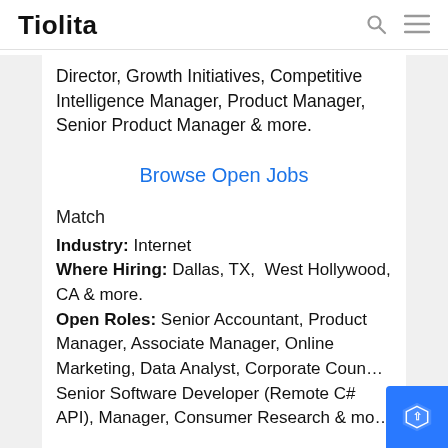Tiolita
Director, Growth Initiatives, Competitive Intelligence Manager, Product Manager, Senior Product Manager & more.
Browse Open Jobs
Match
Industry: Internet
Where Hiring: Dallas, TX,  West Hollywood, CA & more.
Open Roles: Senior Accountant, Product Manager, Associate Manager, Online Marketing, Data Analyst, Corporate Coun… Senior Software Developer (Remote C# API), Manager, Consumer Research & mo…